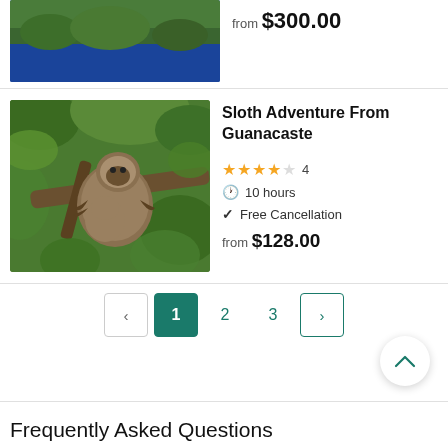[Figure (photo): Partial view of a scenic lake with forested hills and blue water, cropped at top of page]
from $300.00
[Figure (photo): A three-toed sloth hanging on a tree branch surrounded by green tropical leaves]
Sloth Adventure From Guanacaste
4 stars rating, 4 reviews
10 hours
Free Cancellation
from $128.00
Pagination: < 1 2 3 >
Frequently Asked Questions